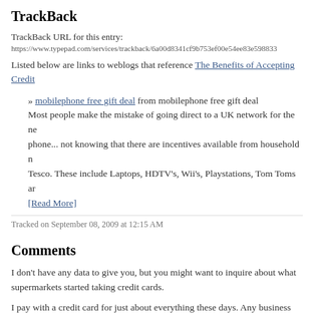TrackBack
TrackBack URL for this entry:
https://www.typepad.com/services/trackback/6a00d8341cf9b753ef00e54ee83e598833
Listed below are links to weblogs that reference The Benefits of Accepting Credit
» mobilephone free gift deal from mobilephone free gift deal
Most people make the mistake of going direct to a UK network for the ne phone... not knowing that there are incentives available from household n Tesco. These include Laptops, HDTV's, Wii's, Playstations, Tom Toms ar [Read More]
Tracked on September 08, 2009 at 12:15 AM
Comments
I don't have any data to give you, but you might want to inquire about what supermarkets started taking credit cards.
I pay with a credit card for just about everything these days. Any business credit cards might have a hard time getting any money at all from me. I sus are a lot of people who are similar.
Posted by: Chuchundra | September 24, 2007 at 04:41 PM